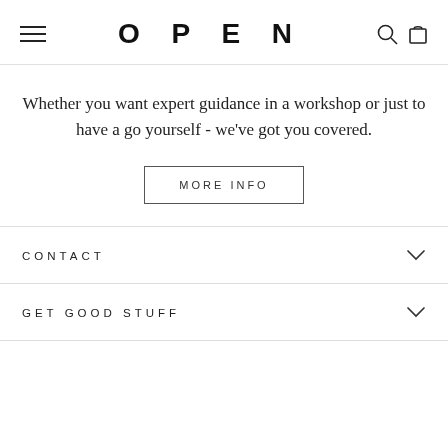OPEN
Whether you want expert guidance in a workshop or just to have a go yourself - we've got you covered.
MORE INFO
CONTACT
GET GOOD STUFF